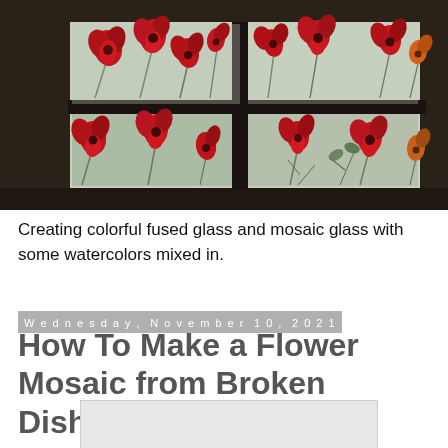[Figure (photo): Photograph of a dark-framed window with four panes, decorated with red poppy flowers on frosted/textured glass, viewed from inside a room.]
Creating colorful fused glass and mosaic glass with some watercolors mixed in.
Wednesday, November 10, 2021
How To Make a Flower Mosaic from Broken Dishes
[Figure (photo): Partially visible image placeholder at the bottom of the page, light gray rectangle.]